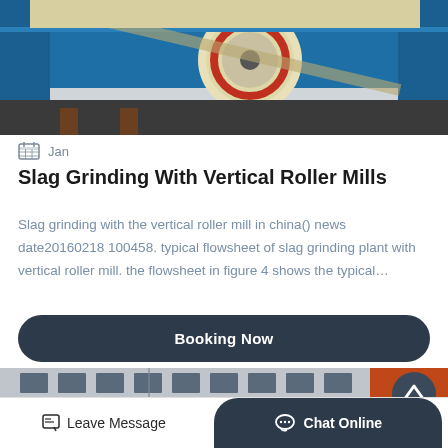[Figure (photo): Top portion of a slag grinding vertical roller mill machine, blue metal frame with large yellow/cream and red roller wheel visible]
Jan
Slag Grinding With Vertical Roller Mills
Slag grinding with the vertical roller mill in china() news date20160218 100458. typical flowsheet of slag grinding plant with vertical roller mill. the flowsheet in figure 4 shows the typical…
Booking Now
[Figure (photo): Bottom portion showing a multi-story building facade with rectangular windows, partial orange/red element on right edge, back-to-top button visible]
Leave Message   Chat Online